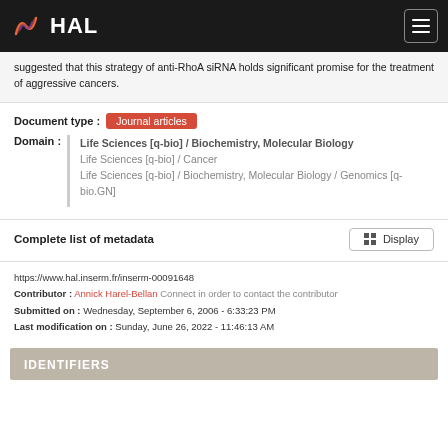HAL
suggested that this strategy of anti-RhoA siRNA holds significant promise for the treatment of aggressive cancers.
Document type : Journal articles
Domain : Life Sciences [q-bio] / Biochemistry, Molecular Biology
Life Sciences [q-bio] / Cancer
Life Sciences [q-bio] / Biochemistry, Molecular Biology / Genomics [q-bio.GN]
Complete list of metadata  Display
https://www.hal.inserm.fr/inserm-00091648
Contributor : Annick Harel-Bellan Connect in order to contact the contributor
Submitted on : Wednesday, September 6, 2006 - 6:33:23 PM
Last modification on : Sunday, June 26, 2022 - 11:46:13 AM
IDENTIFIERS